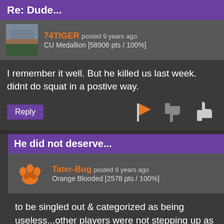Re: Dude...
74TIGER posted 9 years ago
CU Medallion [58906 pts / 100%]
I remember it well. But he killed us last week. didnt do squat in a postive way.
He did not deserve...
Tater-Bug posted 9 years ago
Orange Blooded [2578 pts / 100%]
to be singled out & categorized as being useless...other players were not stepping up as well during the game. They are college football players...not pros.